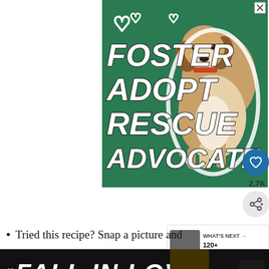[Figure (illustration): Pet adoption advertisement banner on dark green background showing a beagle dog with text FOSTER ADOPT RESCUE ADVOCATE in large bold italic white letters, with heart outlines in upper left and a close X button in upper right corner]
2.7K
[Figure (screenshot): WHAT'S NEXT arrow label with thumbnail image and text '120+ Scrumptou...']
Tried this recipe? Snap a picture and
[Figure (illustration): Bottom advertisement banner with black background showing text FALL IN LOVE in large bold italic white letters with a person's image and music streaming app icon]